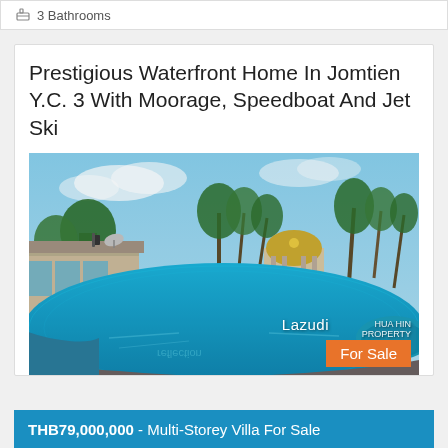3 Bathrooms
Prestigious Waterfront Home In Jomtien Y.C. 3 With Moorage, Speedboat And Jet Ski
[Figure (photo): Panoramic view of a luxurious waterfront property with a large blue swimming pool, tropical palm trees, green lawns, and a building with a golden dome in the background. Watermarks read 'Lazudi' and 'HUA HIN PROPERTY'. An orange 'For Sale' badge is in the bottom right corner.]
THB79,000,000 - Multi-Storey Villa For Sale